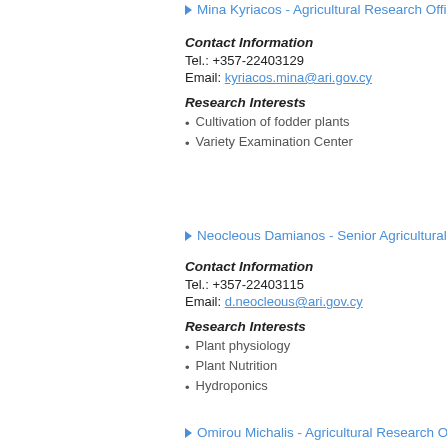Mina Kyriacos - Agricultural Research Offi…
Contact Information
Tel.: +357-22403129
Email: kyriacos.mina@ari.gov.cy
Research Interests
Cultivation of fodder plants
Variety Examination Center
Neocleous Damianos - Senior Agricultural…
Contact Information
Tel.: +357-22403115
Email: d.neocleous@ari.gov.cy
Research Interests
Plant physiology
Plant Nutrition
Hydroponics
Omirou Michalis - Agricultural Research O…